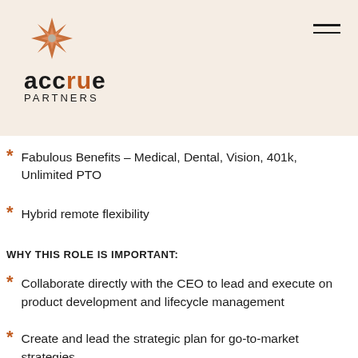accrue PARTNERS
Fabulous Benefits – Medical, Dental, Vision, 401k, Unlimited PTO
Hybrid remote flexibility
WHY THIS ROLE IS IMPORTANT:
Collaborate directly with the CEO to lead and execute on product development and lifecycle management
Create and lead the strategic plan for go-to-market strategies – define the product strategy, vision, and roadmap
Develop omnichannel marketing campaigns to manage all marketing and communications efforts
Develop and...